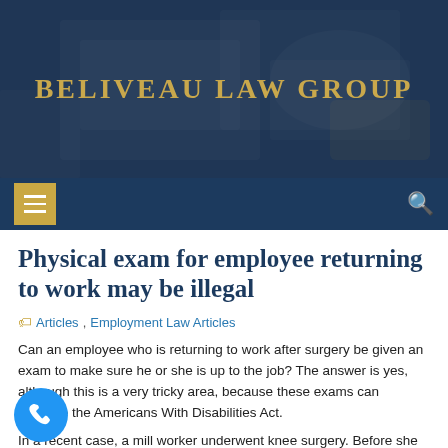BELIVEAU LAW GROUP
Physical exam for employee returning to work may be illegal
Articles, Employment Law Articles
Can an employee who is returning to work after surgery be given an exam to make sure he or she is up to the job? The answer is yes, although this is a very tricky area, because these exams can violate the Americans With Disabilities Act.
In a recent case, a mill worker underwent knee surgery. Before she